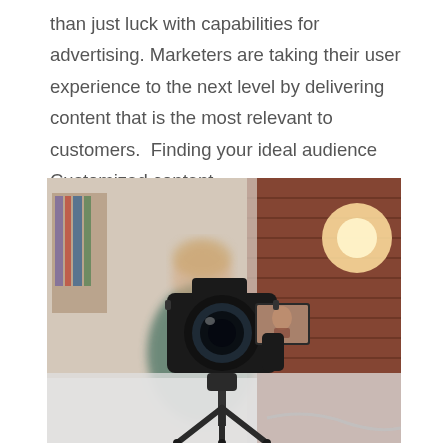than just luck with capabilities for advertising. Marketers are taking their user experience to the next level by delivering content that is the most relevant to customers.  Finding your ideal audience Customized content...
[Figure (photo): A DSLR camera on a tripod in the foreground, with a blurred person sitting in the background in a room with brick walls and warm lighting. The camera screen shows a preview of the person being filmed.]